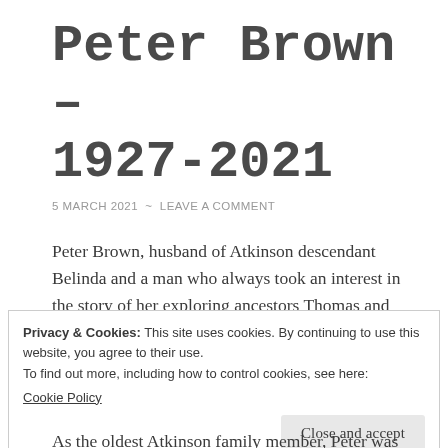Peter Brown – 1927-2021
5 MARCH 2021  ~  LEAVE A COMMENT
Peter Brown, husband of Atkinson descendant Belinda and a man who always took an interest in the story of her exploring ancestors Thomas and Lucy, has passed away at the grand age of 94. Despite his advanced years, he and Belinda both travelled to Kazakhstan in
Privacy & Cookies: This site uses cookies. By continuing to use this website, you agree to their use.
To find out more, including how to control cookies, see here:
Cookie Policy
Close and accept
As the oldest Atkinson family member, Peter was